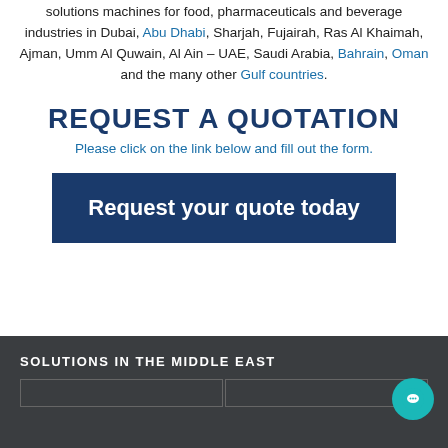solutions machines for food, pharmaceuticals and beverage industries in Dubai, Abu Dhabi, Sharjah, Fujairah, Ras Al Khaimah, Ajman, Umm Al Quwain, Al Ain – UAE, Saudi Arabia, Bahrain, Oman and the many other Gulf countries.
REQUEST A QUOTATION
Please click on the link below and fill out the form.
[Figure (other): Dark blue button with white bold text reading 'Request your quote today']
SOLUTIONS IN THE MIDDLE EAST